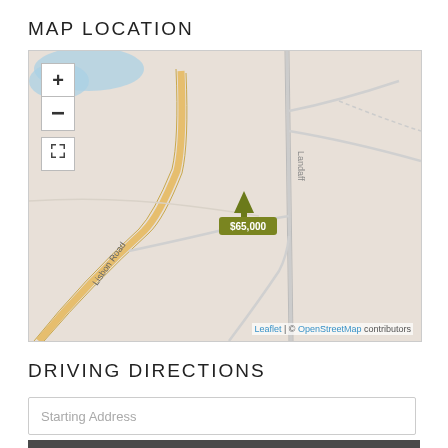MAP LOCATION
[Figure (map): Interactive Leaflet map showing a rural area with roads including Lisbon Road and Landaff, with a tree/property marker labeled $65,000 at the center. Map includes zoom controls (+/-) and a fullscreen button. Attribution: Leaflet | © OpenStreetMap contributors.]
DRIVING DIRECTIONS
Starting Address